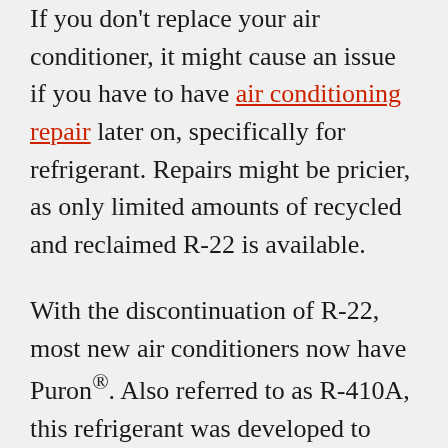If you don't replace your air conditioner, it might cause an issue if you have to have air conditioning repair later on, specifically for refrigerant. Repairs might be pricier, as only limited amounts of recycled and reclaimed R-22 is available.
With the discontinuation of R-22, most new air conditioners now have Puron®. Also referred to as R-410A, this refrigerant was developed to keep the ozone layer strong. Since it needs a different pressure level, it doesn't match air conditioners that rely on R-22 for cooling.
However, Puron still has the possibility to lead to global warming. Because of that, it could also sometime be ended. Although it hasn't been disclosed yet for residential air conditioners, it's likely sometime this decade.